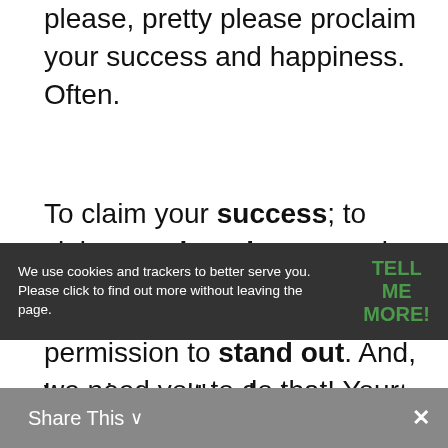please, pretty please proclaim your success and happiness. Often.
To claim your success; to claim your happiness requires courage.
It also means giving yourself permission to stand out. And, we need you to do that! Your doing so makes room for and helps others to day the same.
We use cookies and trackers to better serve you. Please click to find out more without leaving the page.
TELL ME MORE!
happiness, it's what you want, right? It is the reward for:
Share This